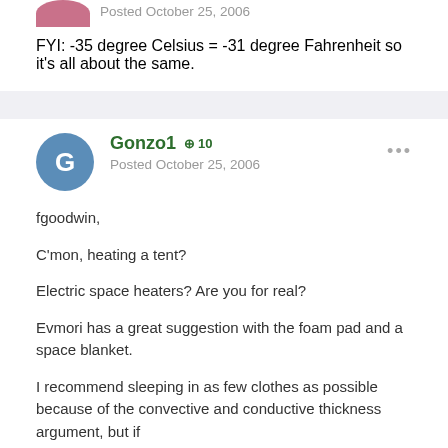Posted October 25, 2006
FYI: -35 degree Celsius = -31 degree Fahrenheit so it's all about the same.
Gonzo1  +10
Posted October 25, 2006
fgoodwin,
C'mon, heating a tent?
Electric space heaters? Are you for real?
Evmori has a great suggestion with the foam pad and a space blanket.
I recommend sleeping in as few clothes as possible because of the convective and conductive thickness argument, but if